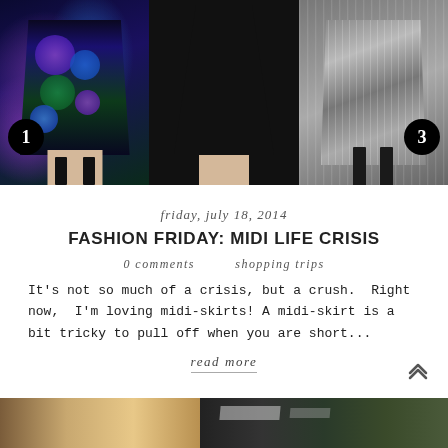[Figure (photo): Three midi skirts side by side. Left: floral print skirt in blue/purple/green tones with number badge '1'. Center: black midi skirt. Right: silver/metallic pleated skirt with number badge '3'.]
friday, july 18, 2014
FASHION FRIDAY: MIDI LIFE CRISIS
0 comments    shopping trips
It's not so much of a crisis, but a crush. Right now, I'm loving midi-skirts! A midi-skirt is a bit tricky to pull off when you are short...
read more
[Figure (photo): Partial bottom strip showing another fashion blog post image, cropped.]